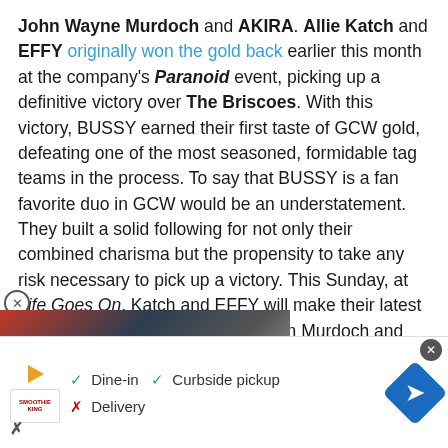John Wayne Murdoch and AKIRA. Allie Katch and EFFY originally won the gold back earlier this month at the company's Paranoid event, picking up a definitive victory over The Briscoes. With this victory, BUSSY earned their first taste of GCW gold, defeating one of the most seasoned, formidable tag teams in the process. To say that BUSSY is a fan favorite duo in GCW would be an understatement. They built a solid following for not only their combined charisma but the propensity to take any risk necessary to pick up a victory. This Sunday, at Life Goes On, Katch and EFFY will make their latest defense against a dangerous duo in Murdoch and AKIRA
[Figure (photo): Two professional wrestlers in a promotional photo, partially obscured by an advertisement overlay]
[Figure (infographic): Smoothie King advertisement banner showing dine-in, curbside pickup, and delivery options with a blue navigation arrow icon]